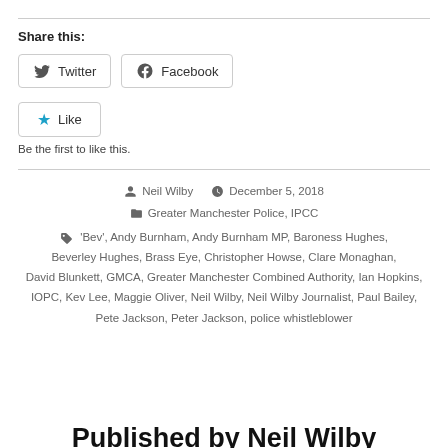Share this:
[Figure (other): Twitter and Facebook share buttons]
[Figure (other): Like button with star icon]
Be the first to like this.
Neil Wilby · December 5, 2018 · Greater Manchester Police, IPCC
'Bev', Andy Burnham, Andy Burnham MP, Baroness Hughes, Beverley Hughes, Brass Eye, Christopher Howse, Clare Monaghan, David Blunkett, GMCA, Greater Manchester Combined Authority, Ian Hopkins, IOPC, Kev Lee, Maggie Oliver, Neil Wilby, Neil Wilby Journalist, Paul Bailey, Pete Jackson, Peter Jackson, police whistleblower
Published by Neil Wilby